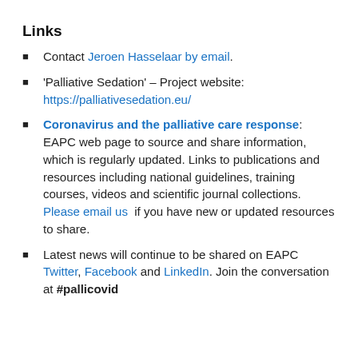Links
Contact Jeroen Hasselaar by email.
'Palliative Sedation' – Project website: https://palliativesedation.eu/
Coronavirus and the palliative care response: EAPC web page to source and share information, which is regularly updated. Links to publications and resources including national guidelines, training courses, videos and scientific journal collections. Please email us if you have new or updated resources to share.
Latest news will continue to be shared on EAPC Twitter, Facebook and LinkedIn. Join the conversation at #pallicovid